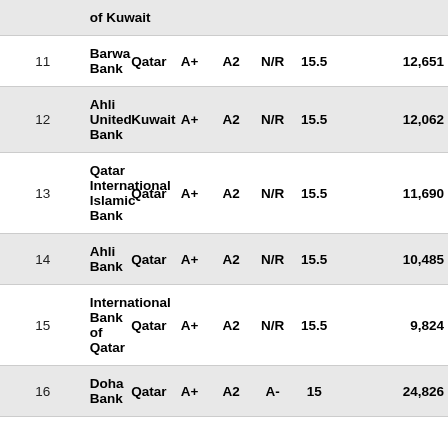| # | Name | Country | S&P | Moody's | Fitch | CAR% | Assets |
| --- | --- | --- | --- | --- | --- | --- | --- |
|  | of Kuwait |  |  |  |  |  |  |
| 11 | Barwa Bank | Qatar | A+ | A2 | N/R | 15.5 | 12,651 |
| 12 | Ahli United Bank | Kuwait | A+ | A2 | N/R | 15.5 | 12,062 |
| 13 | Qatar International Islamic Bank | Qatar | A+ | A2 | N/R | 15.5 | 11,690 |
| 14 | Ahli Bank | Qatar | A+ | A2 | N/R | 15.5 | 10,485 |
| 15 | International Bank of Qatar | Qatar | A+ | A2 | N/R | 15.5 | 9,824 |
| 16 | Doha Bank | Qatar | A+ | A2 | A- | 15 | 24,826 |